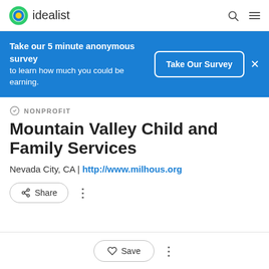idealist
Take our 5 minute anonymous survey to learn how much you could be earning.
NONPROFIT
Mountain Valley Child and Family Services
Nevada City, CA | http://www.milhous.org
Share
Save